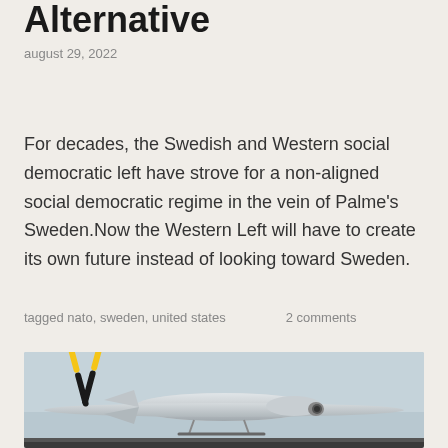Alternative
august 29, 2022
For decades, the Swedish and Western social democratic left have strove for a non-aligned social democratic regime in the vein of Palme's Sweden.Now the Western Left will have to create its own future instead of looking toward Sweden.
tagged nato, sweden, united states    2 comments
[Figure (photo): Close-up photograph of a military drone (UAV) aircraft showing the front fuselage, wings, and yellow-tipped propellers against a grey sky background]